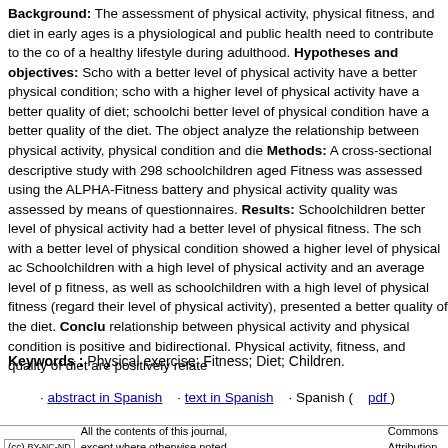Background: The assessment of physical activity, physical fitness, and diet in early ages is a physiological and public health need to contribute to the consolidation of a healthy lifestyle during adulthood. Hypotheses and objectives: Schoolchildren with a better level of physical activity have a better physical condition; schoolchildren with a higher level of physical activity have a better quality of diet; schoolchildren with a better level of physical condition have a better quality of the diet. The objective is to analyze the relationship between physical activity, physical condition and diet. Methods: A cross-sectional descriptive study with 298 schoolchildren aged... Fitness was assessed using the ALPHA-Fitness battery and physical activity and diet quality was assessed by means of questionnaires. Results: Schoolchildren with a better level of physical activity had a better level of physical fitness. The schoolchildren with a better level of physical condition showed a higher level of physical activity. Schoolchildren with a high level of physical activity and an average level of physical fitness, as well as schoolchildren with a high level of physical fitness (regardless of their level of physical activity), presented a better quality of the diet. Conclusions: The relationship between physical activity and physical condition is positive and bidirectional. Physical activity, fitness, and quality of diet are positively related.
Keywords : Physical exercise; Fitness; Diet; Children.
· abstract in Spanish · text in Spanish · Spanish ( pdf )
All the contents of this journal, except where otherwise noted, is licensed under a Creative Commons Attribution License
C/Castelló, 128, 1º, Madrid, Madrid, ES,
nutricion@grupoaran.com